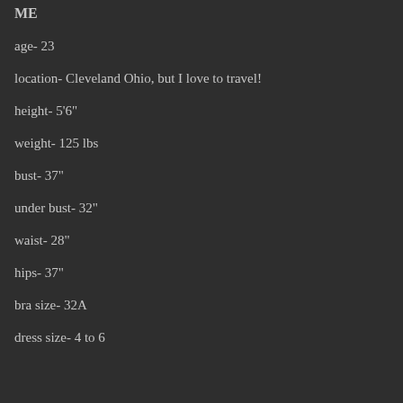ME
age- 23
location- Cleveland Ohio, but I love to travel!
height- 5'6"
weight- 125 lbs
bust- 37"
under bust- 32"
waist- 28"
hips- 37"
bra size- 32A
dress size- 4 to 6